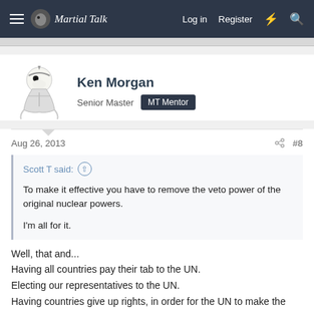Martial Talk — Log in  Register
[Figure (photo): Avatar of Ken Morgan — cartoon Snoopy character dressed as martial artist]
Ken Morgan
Senior Master  MT Mentor
Aug 26, 2013  #8
Scott T said: ↑

To make it effective you have to remove the veto power of the original nuclear powers.

I'm all for it.
Well, that and...
Having all countries pay their tab to the UN.
Electing our representatives to the UN.
Having countries give up rights, in order for the UN to make the